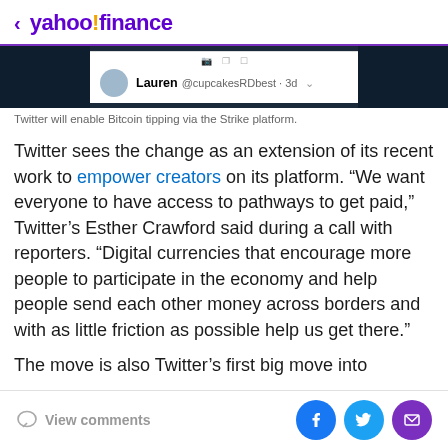< yahoo!finance
[Figure (screenshot): Twitter post screenshot showing Lauren @cupcakesRDbest · 3d with dropdown arrow, on dark background strip]
Twitter will enable Bitcoin tipping via the Strike platform.
Twitter sees the change as an extension of its recent work to empower creators on its platform. “We want everyone to have access to pathways to get paid,” Twitter’s Esther Crawford said during a call with reporters. “Digital currencies that encourage more people to participate in the economy and help people send each other money across borders and with as little friction as possible help us get there.”
The move is also Twitter’s first big move into
View comments